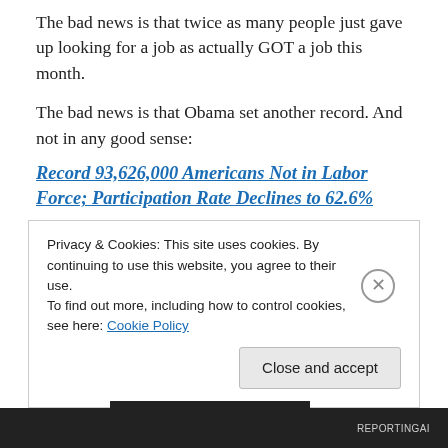The bad news is that twice as many people just gave up looking for a job as actually GOT a job this month.
The bad news is that Obama set another record.  And not in any good sense:
Record 93,626,000 Americans Not in Labor Force; Participation Rate Declines to 62.6%
By Ali Meyer | July 2, 2015 | 8:42 AM EDT
(CNSNews.com) – A record 93,626,000 Americans 16 or older did not participate in the nation's labor force in
Privacy & Cookies: This site uses cookies. By continuing to use this website, you agree to their use.
To find out more, including how to control cookies, see here: Cookie Policy
Close and accept